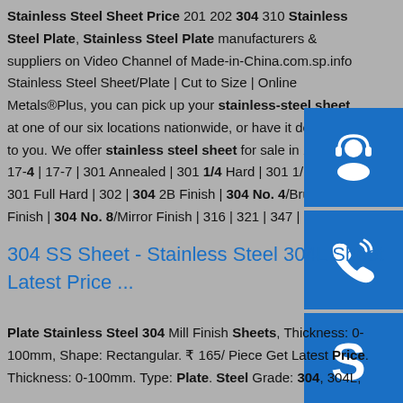Stainless Steel Sheet Price 201 202 304 310 Stainless Steel Plate, Stainless Steel Plate manufacturers & suppliers on Video Channel of Made-in-China.com.sp.info Stainless Steel Sheet/Plate | Cut to Size | Online Metals®Plus, you can pick up your stainless-steel sheet at one of our six locations nationwide, or have it delivered to you. We offer stainless steel sheet for sale in 15-5 | 17-4 | 17-7 | 301 Annealed | 301 1/4 Hard | 301 1/2 Hard | 301 Full Hard | 302 | 304 2B Finish | 304 No. 4/Brushed Finish | 304 No. 8/Mirror Finish | 316 | 321 | 347 | 410 ...
[Figure (illustration): Three blue icon boxes stacked vertically on the right side: headset/support icon, phone/call icon, Skype icon]
304 SS Sheet - Stainless Steel 304L Sheet Latest Price ...
Plate Stainless Steel 304 Mill Finish Sheets, Thickness: 0-100mm, Shape: Rectangular. ₹ 165/ Piece Get Latest Price. Thickness: 0-100mm. Type: Plate. Steel Grade: 304, 304L,